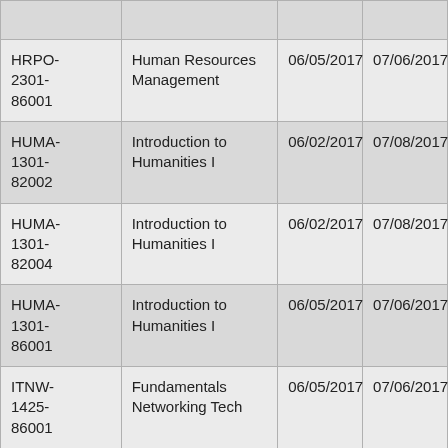| HRPO-2301-86001 | Human Resources Management | 06/05/2017 | 07/06/2017 |
| HUMA-1301-82002 | Introduction to Humanities I | 06/02/2017 | 07/08/2017 |
| HUMA-1301-82004 | Introduction to Humanities I | 06/02/2017 | 07/08/2017 |
| HUMA-1301-86001 | Introduction to Humanities I | 06/05/2017 | 07/06/2017 |
| ITNW-1425-86001 | Fundamentals Networking Tech | 06/05/2017 | 07/06/2017 |
| ITSW- |  |  |  |